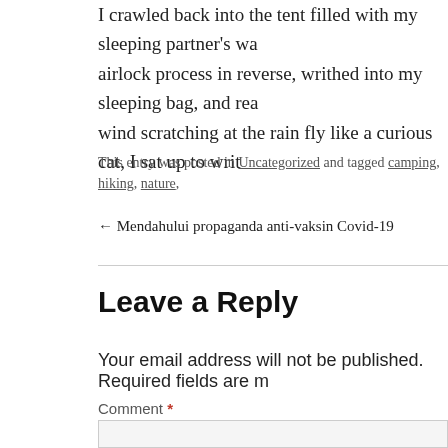I crawled back into the tent filled with my sleeping partner's wa airlock process in reverse, writhed into my sleeping bag, and rea wind scratching at the rain fly like a curious cat, I sat up to writ
This entry was posted in Uncategorized and tagged camping, hiking, nature,
← Mendahului propaganda anti-vaksin Covid-19
Leave a Reply
Your email address will not be published. Required fields are m
Comment *